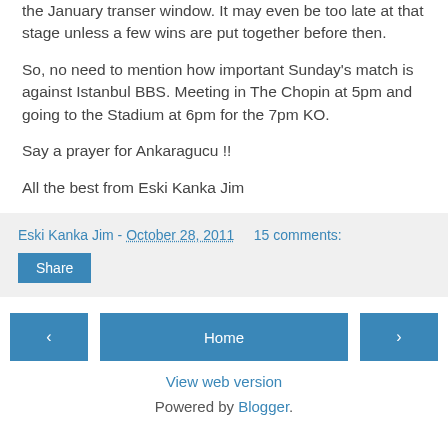the January transer window. It may even be too late at that stage unless a few wins are put together before then.
So, no need to mention how important Sunday's match is against Istanbul BBS. Meeting in The Chopin at 5pm and going to the Stadium at 6pm for the 7pm KO.
Say a prayer for Ankaragucu !!
All the best from Eski Kanka Jim
Eski Kanka Jim - October 28, 2011   15 comments:
Share
‹   Home   ›
View web version
Powered by Blogger.